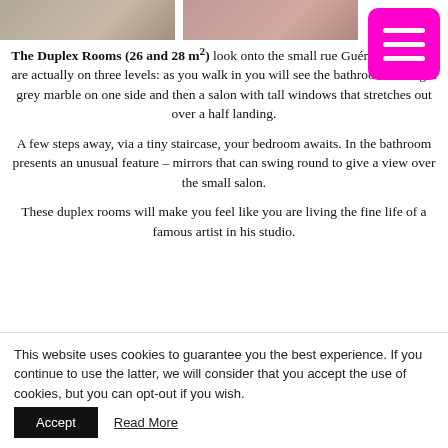[Figure (photo): Two partial hotel room photos at the top of the page]
The Duplex Rooms (26 and 28 m²) look onto the small rue Guénégaud. They are actually on three levels: as you walk in you will see the bathroom in a light grey marble on one side and then a salon with tall windows that stretches out over a half landing.

A few steps away, via a tiny staircase, your bedroom awaits. In the bathroom presents an unusual feature – mirrors that can swing round to give a view over the small salon.

These duplex rooms will make you feel like you are living the fine life of a famous artist in his studio.
[Figure (infographic): WiFi icon (magenta) and snowflake/air conditioning icon (magenta) in a two-cell icon row]
This website uses cookies to guarantee you the best experience. If you continue to use the latter, we will consider that you accept the use of cookies, but you can opt-out if you wish.